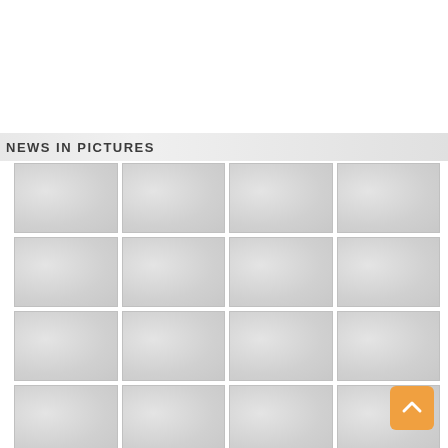NEWS IN PICTURES
[Figure (photo): Grid of 16 placeholder image thumbnails arranged in a 4x4 layout under the 'News in Pictures' section header. Images appear as light grey rectangular placeholders. An orange scroll-to-top button is visible in the bottom right corner.]